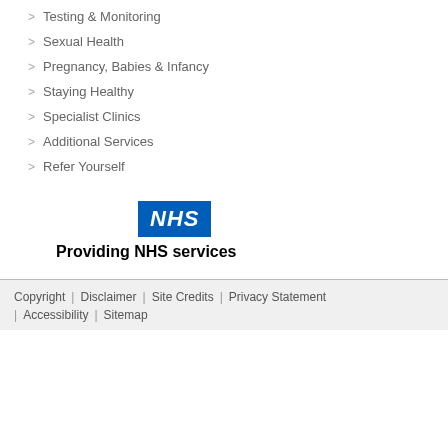> Testing & Monitoring
> Sexual Health
> Pregnancy, Babies & Infancy
> Staying Healthy
> Specialist Clinics
> Additional Services
> Refer Yourself
[Figure (logo): NHS logo - blue rectangle with white italic bold text 'NHS', with caption 'Providing NHS services']
Copyright | Disclaimer | Site Credits | Privacy Statement | Accessibility | Sitemap